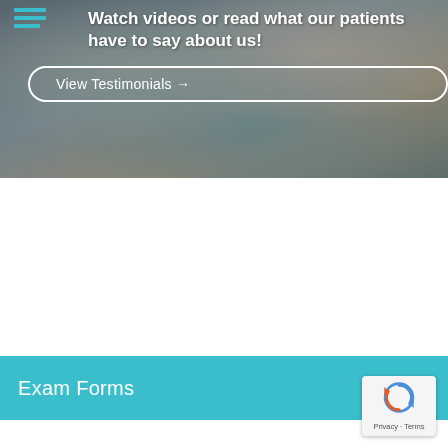[Figure (photo): Two smiling elderly people (couple) in close-up photo with dark overlay, serving as background for testimonials section]
Watch videos or read what our patients have to say about us!
View Testimonials →
Exam Forms
[Figure (photo): Close-up portrait of an elderly man with glasses, teal/blue-green color overlay, background section image]
[Figure (other): reCAPTCHA badge with Privacy and Terms links]